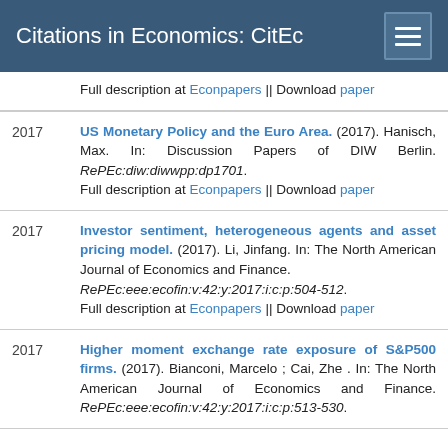Citations in Economics: CitEc
Full description at Econpapers || Download paper
2017  US Monetary Policy and the Euro Area. (2017). Hanisch, Max. In: Discussion Papers of DIW Berlin. RePEc:diw:diwwpp:dp1701. Full description at Econpapers || Download paper
2017  Investor sentiment, heterogeneous agents and asset pricing model. (2017). Li, Jinfang. In: The North American Journal of Economics and Finance. RePEc:eee:ecofin:v:42:y:2017:i:c:p:504-512. Full description at Econpapers || Download paper
2017  Higher moment exchange rate exposure of S&P500 firms. (2017). Bianconi, Marcelo ; Cai, Zhe . In: The North American Journal of Economics and Finance. RePEc:eee:ecofin:v:42:y:2017:i:c:p:513-530.